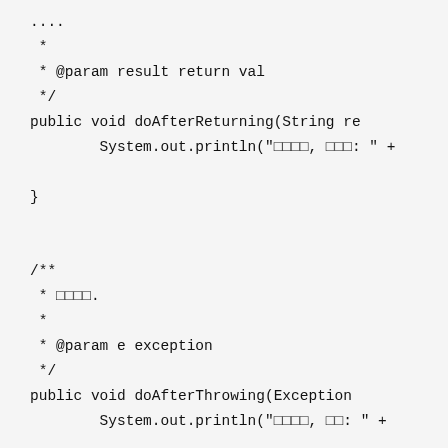...
 * 
 * @param result return val
 */
public void doAfterReturning(String re
    System.out.println("\u0000\u0000\u0000\u0000, \u0000\u0000\u0000: " +
}

/**
 * \u0000\u0000\u0000\u0000.
 *
 * @param e exception
 */
public void doAfterThrowing(Exception
    System.out.println("\u0000\u0000\u0000\u0000, \u0000\u0000: " +